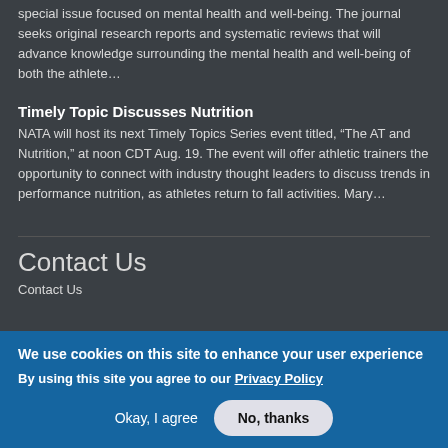The Journal of Athletic Training is pleased to announce a forthcoming special issue focused on mental health and well-being. The journal seeks original research reports and systematic reviews that will advance knowledge surrounding the mental health and well-being of both the athlete…
Timely Topic Discusses Nutrition
NATA will host its next Timely Topics Series event titled, “The AT and Nutrition,” at noon CDT Aug. 19. The event will offer athletic trainers the opportunity to connect with industry thought leaders to discuss trends in performance nutrition, as athletes return to fall activities. Mary…
Contact Us
Contact Us
We use cookies on this site to enhance your user experience
By using this site you agree to our Privacy Policy
Okay, I agree
No, thanks